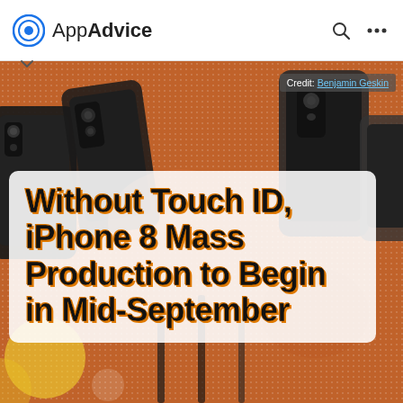AppAdvice
[Figure (photo): Background photo of multiple smartphone prototypes/mockups laid on an orange surface with a dotted/halftone overlay pattern. The phones appear to be iPhone models viewed from above showing their rear camera modules.]
Credit: Benjamin Geskin
Without Touch ID, iPhone 8 Mass Production to Begin in Mid-September